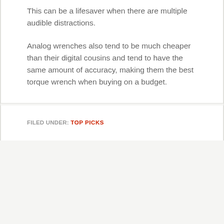This can be a lifesaver when there are multiple audible distractions.
Analog wrenches also tend to be much cheaper than their digital cousins and tend to have the same amount of accuracy, making them the best torque wrench when buying on a budget.
FILED UNDER: TOP PICKS